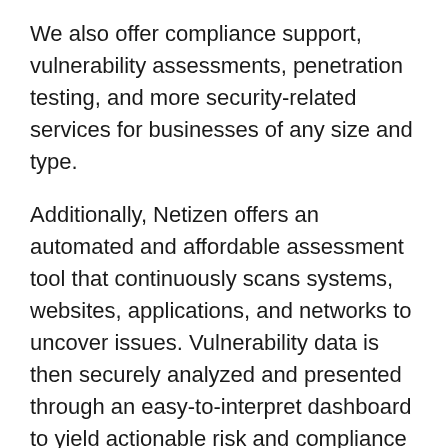We also offer compliance support, vulnerability assessments, penetration testing, and more security-related services for businesses of any size and type.
Additionally, Netizen offers an automated and affordable assessment tool that continuously scans systems, websites, applications, and networks to uncover issues. Vulnerability data is then securely analyzed and presented through an easy-to-interpret dashboard to yield actionable risk and compliance information for audiences ranging from IT professionals to executive managers.
Netizen is an ISO 27001:2013 (Information Security Management), ISO 9001:2015, and CMMI V 2.0 Level 3 certified company. We are a proud Service-Disabled Veteran-Owned Small Business that is recognized by the U.S. Department of Labor for hiring and retention of